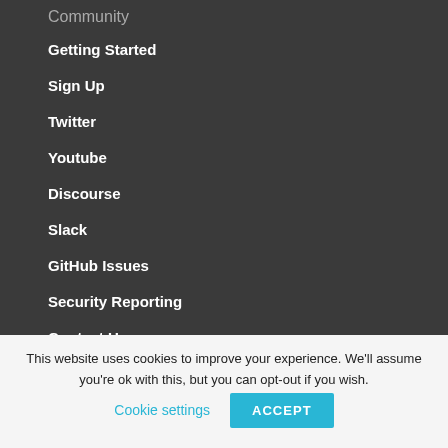Community
Getting Started
Sign Up
Twitter
Youtube
Discourse
Slack
GitHub Issues
Security Reporting
Contact Us
Subgroups
Training
This website uses cookies to improve your experience. We'll assume you're ok with this, but you can opt-out if you wish.
Cookie settings
ACCEPT